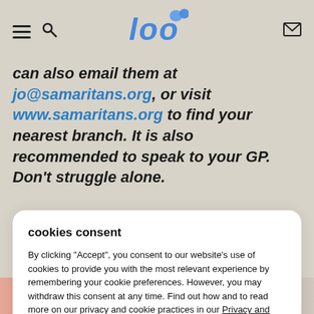Loo (logo) - navigation header with hamburger menu, search icon, and mail icon
can also email them at jo@samaritans.org, or visit www.samaritans.org to find your nearest branch. It is also recommended to speak to your GP. Don't struggle alone.
cookies consent
By clicking "Accept", you consent to our website's use of cookies to provide you with the most relevant experience by remembering your cookie preferences. However, you may withdraw this consent at any time. Find out how and to read more on our privacy and cookie practices in our Privacy and Cookie Notice.